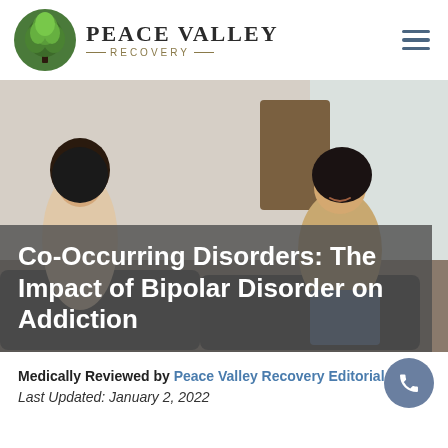[Figure (logo): Peace Valley Recovery logo with tree icon and text]
[Figure (photo): Two women sitting and talking in a therapy or counseling session setting, one with glasses and dark hair, one smiling in a blue jeans and light top]
Co-Occurring Disorders: The Impact of Bipolar Disorder on Addiction
Medically Reviewed by Peace Valley Recovery Editorial Staff,
Last Updated: January 2, 2022